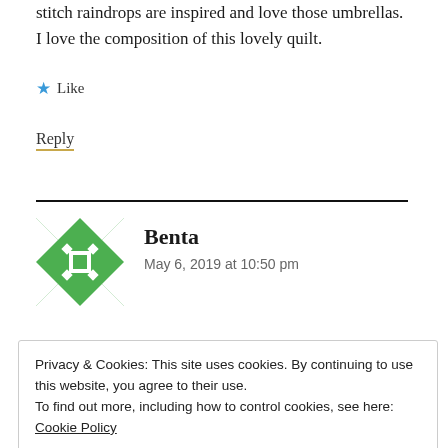stitch raindrops are inspired and love those umbrellas. I love the composition of this lovely quilt.
★ Like
Reply
Benta
May 6, 2019 at 10:50 pm
Privacy & Cookies: This site uses cookies. By continuing to use this website, you agree to their use. To find out more, including how to control cookies, see here: Cookie Policy
Close and accept